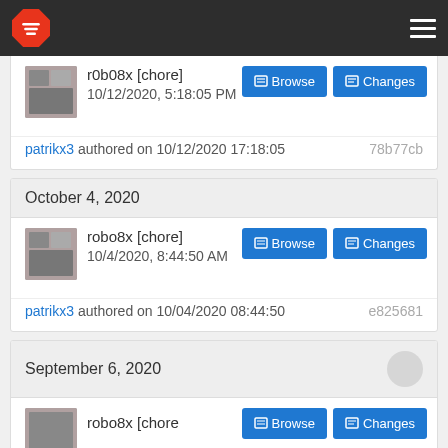Navigation bar with logo and hamburger menu
r0b08x [chore] 10/12/2020, 5:18:05 PM
patrikx3 authored on 10/12/2020 17:18:05   78b77cb
October 4, 2020
robo8x [chore] 10/4/2020, 8:44:50 AM
patrikx3 authored on 10/04/2020 08:44:50   e825681
September 6, 2020